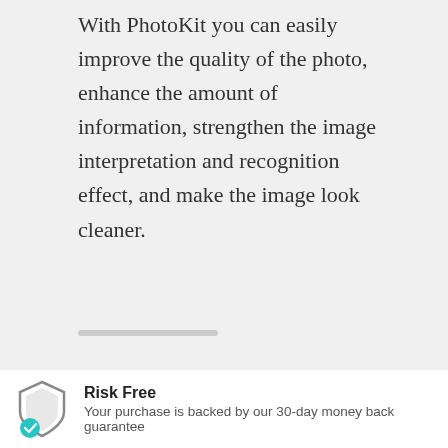With PhotoKit you can easily improve the quality of the photo, enhance the amount of information, strengthen the image interpretation and recognition effect, and make the image look cleaner.
[Figure (other): A horizontal rounded scroll indicator bar in gray]
[Figure (other): Partially visible teal/cyan circle in the bottom-right corner]
Risk Free
Your purchase is backed by our 30-day money back guarantee